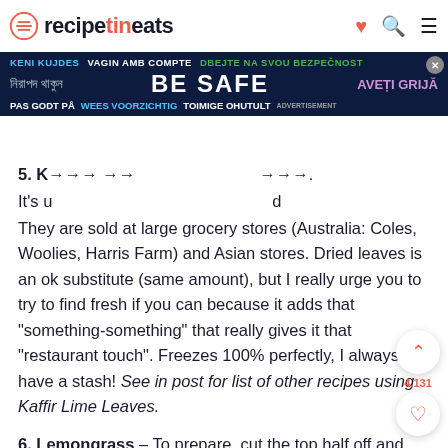recipetineats
[Figure (infographic): BE SAFE multilingual advertisement banner with dark blue background]
They are sold at large grocery stores (Australia: Coles, Woolies, Harris Farm) and Asian stores. Dried leaves is an ok substitute (same amount), but I really urge you to try to find fresh if you can because it adds that “something-something” that really gives it that “restaurant touch”. Freezes 100% perfectly, I always have a stash! See in post for list of other recipes using Kaffir Lime Leaves.
6. Lemongrass – To prepare, cut the top half off and discard (it’s too tough). Peel the reedy green layers off the remainder to reveal the softer white part. Slice as needed for the recipe. If lemongrass is hard to come by, you can use Lemongrass Paste: use 2 teaspoons.
7. Rice options: